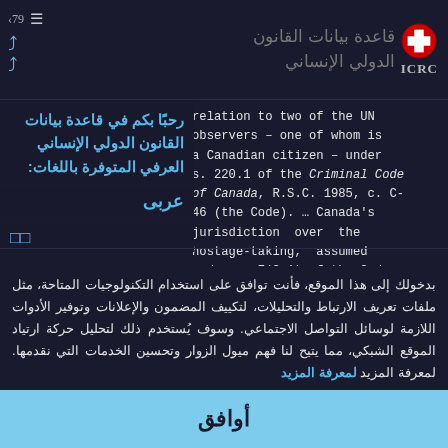قاعدة بيانات القانون الدولي الإنساني | ICRC
relation to two of the UN observers – one of whom is a Canadian citizen – under s. 220.1 of the Criminal Code of Canada, R.S.C. 1985, c. C-46 (the Code). … Canada's jurisdiction over the hostage-taking, assumed under s. 7(3.1) of the Code, was conceded by the defence.
رحبًا بكم في قاعدة بيانات القانون الدولي الإنساني العرفي المتوفرة باللغات:
عربى
بدخولك إلى هذا الموقع، فأنت توافق على استخدام التكنولوجيات المتاحة، مثل ملفات تعريف الارتباط والتحليلات، لتكييف المضمون والإعلانات وتوفير الأدوات اللازمة لوسائل التواصل الاجتماعي. وسوف يُستخدم ذلك لتحليل حركة ارتياد الموقع الشبكي، مما يتيح لنا فهم ميول الزوار وتحسين الخدمات التي نقدمها. لمعرفة المزيد لمعرفة المزيد
أوافق